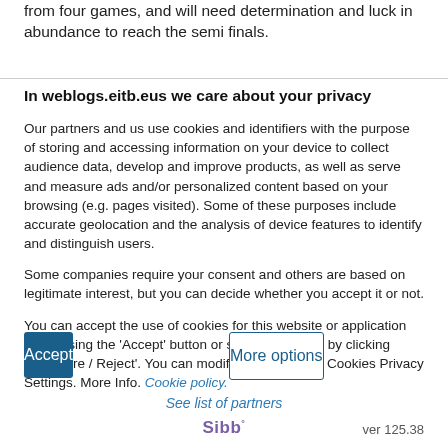from four games, and will need determination and luck in abundance to reach the semi finals.
In weblogs.eitb.eus we care about your privacy
Our partners and us use cookies and identifiers with the purpose of storing and accessing information on your device to collect audience data, develop and improve products, as well as serve and measure ads and/or personalized content based on your browsing (e.g. pages visited). Some of these purposes include accurate geolocation and the analysis of device features to identify and distinguish users.
Some companies require your consent and others are based on legitimate interest, but you can decide whether you accept it or not.
You can accept the use of cookies for this website or application by pressing the 'Accept' button or set/reject its use by clicking 'Configure / Reject'. You can modify your choice in Cookies Privacy Settings. More Info. Cookie policy.
Accept
More options
See list of partners
Sibb° ver 125.38